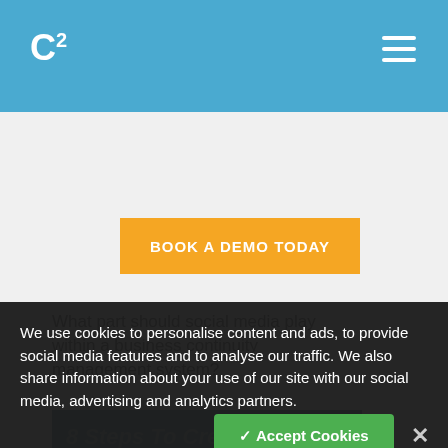C² [logo with hamburger menu]
[Figure (screenshot): Teal article image with bold italic white text partially visible: 'Should Social Media Be Included With...' overlaid with an orange CTA button reading 'BOOK A DEMO TODAY']
What part should social media play within a business continuity management system?
Posted on March 08, 2019
We use cookies to personalise content and ads, to provide social media features and to analyse our traffic. We also share information about your use of our site with our social media, advertising and analytics partners.
[Figure (screenshot): Partially visible teal article image with white text: '8 Steps To Create A Business...']